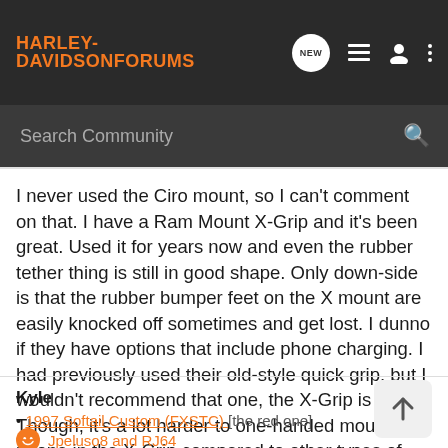Harley-Davidson Forums
I never used the Ciro mount, so I can't comment on that. I have a Ram Mount X-Grip and it's been great. Used it for years now and even the rubber tether thing is still in good shape. Only down-side is that the rubber bumper feet on the X mount are easily knocked off sometimes and get lost. I dunno if they have options that include phone charging. I had previously used their old-style quick grip, but I wouldn't recommend that one, the X-Grip is better. Though, it's a lot harder to one-handed mount your phone in the X-Grip compared to other types of mounts.
Kyle
• 1997 Softail Custom (FXSTC) [the red one]
Jpeluso8 and RJ64